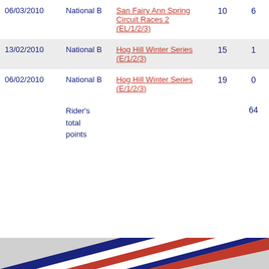| Date | Category | Race | Starters | Points |
| --- | --- | --- | --- | --- |
| 06/03/2010 | National B | San Fairy Ann Spring Circuit Races 2 (EL/1/2/3) | 10 | 6 |
| 13/02/2010 | National B | Hog Hill Winter Series (E/1/2/3) | 15 | 1 |
| 06/02/2010 | National B | Hog Hill Winter Series (E/1/2/3) | 19 | 0 |
|  | Rider's total points |  |  | 64 |
[Figure (illustration): Diagonal striped banner with blue, white, and red colors (British flag colors)]